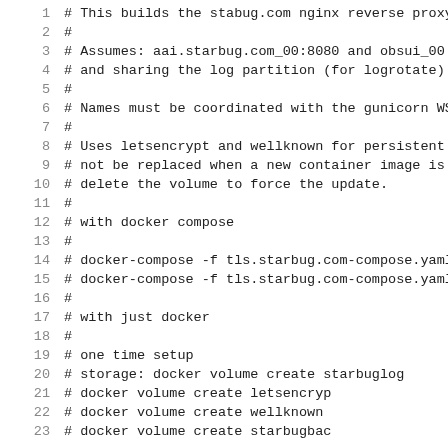1  # This builds the stabug.com nginx reverse proxy c
2  #
3  # Assumes: aai.starbug.com_00:8080 and obsui_00:8
4  # and sharing the log partition (for logrotate)
5  #
6  # Names must be coordinated with the gunicorn WSG
7  #
8  # Uses letsencrypt and wellknown for persistent s
9  # not be replaced when a new container image is p
10 # delete the volume to force the update.
11 #
12 # with docker compose
13 #
14 # docker-compose -f tls.starbug.com-compose.yaml c
15 # docker-compose -f tls.starbug.com-compose.yaml c
16 #
17 # with just docker
18 #
19 # one time setup
20 # storage:      docker volume create starbuglog
21 #               docker volume create letsencryp
22 #               docker volume create wellknown
23 #               docker volume create starbugbac